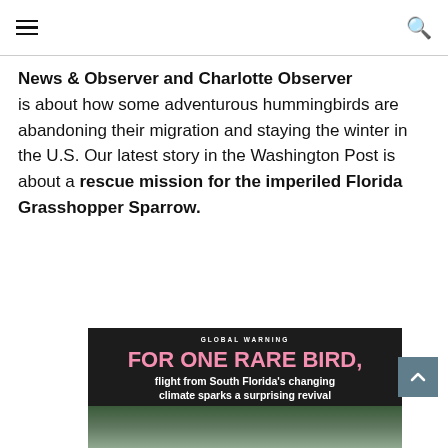≡  🔍
News & Observer and Charlotte Observer is about how some adventurous hummingbirds are abandoning their migration and staying the winter in the U.S. Our latest story in the Washington Post is about a rescue mission for the imperiled Florida Grasshopper Sparrow.
[Figure (photo): Article thumbnail showing headline 'FOR ONE RARE BIRD, flight from South Florida's changing climate sparks a surprising revival' with subheading 'GLOBAL WARNING' on a dark background, with a bird photo below.]